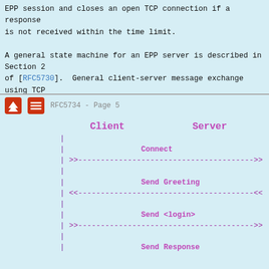EPP session and closes an open TCP connection if a response is not received within the time limit.

A general state machine for an EPP server is described in Section 2 of [RFC5730].  General client-server message exchange using TCP transport is illustrated in Figure 1.
RFC5734 - Page 5
[Figure (other): Sequence diagram showing EPP client-server message exchange. Client column on left, Server column on right. Messages: Connect (client to server, >>--->>), Send Greeting (server to client, <<---<<), Send <login> (client to server, >>--->>), Send Response (server to client).]